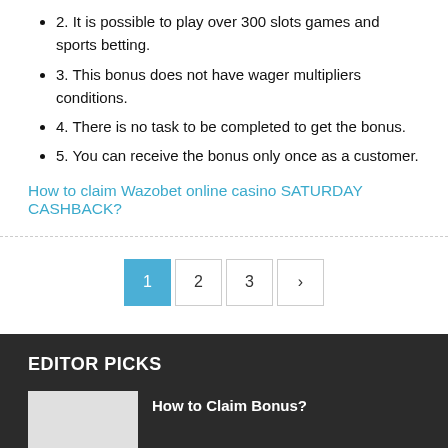2. It is possible to play over 300 slots games and sports betting.
3. This bonus does not have wager multipliers conditions.
4. There is no task to be completed to get the bonus.
5. You can receive the bonus only once as a customer.
How to claim Wazobet online casino SATURDAY CASHBACK?
EDITOR PICKS
How to Claim Bonus?